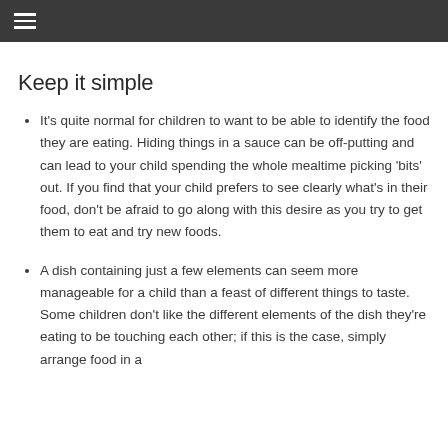Keep it simple
It's quite normal for children to want to be able to identify the food they are eating. Hiding things in a sauce can be off-putting and can lead to your child spending the whole mealtime picking 'bits' out. If you find that your child prefers to see clearly what's in their food, don't be afraid to go along with this desire as you try to get them to eat and try new foods.
A dish containing just a few elements can seem more manageable for a child than a feast of different things to taste. Some children don't like the different elements of the dish they're eating to be touching each other; if this is the case, simply arrange food in a